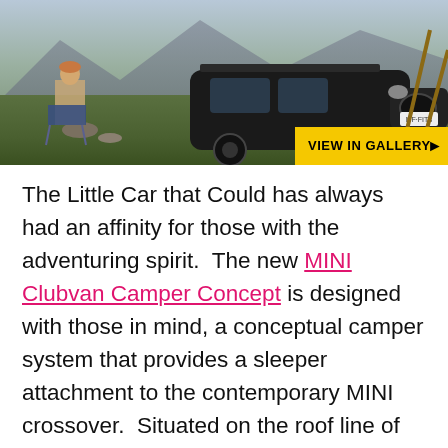[Figure (photo): Outdoor mountain scene showing a person sitting in a camp chair beside a dark-colored MINI Clubvan crossover on a grassy hillside. A 'VIEW IN GALLERY >' button overlay appears in the bottom-right corner of the image.]
The Little Car that Could has always had an affinity for those with the adventuring spirit.  The new MINI Clubvan Camper Concept is designed with those in mind, a conceptual camper system that provides a sleeper attachment to the contemporary MINI crossover.  Situated on the roof line of the MINI Clubvan, this pop-up style camper provides sleeping room for two wherever your MINI takes you.  Just drive, park and pop, and you've got a private hotel room with any